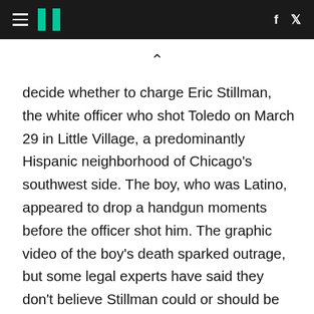HuffPost navigation with hamburger menu, logo, Facebook and Twitter icons
decide whether to charge Eric Stillman, the white officer who shot Toledo on March 29 in Little Village, a predominantly Hispanic neighborhood of Chicago's southwest side. The boy, who was Latino, appeared to drop a handgun moments before the officer shot him. The graphic video of the boy's death sparked outrage, but some legal experts have said they don't believe Stillman could or should be charged under criteria established by a landmark 1989 Supreme Court ruling on the use of force by police.